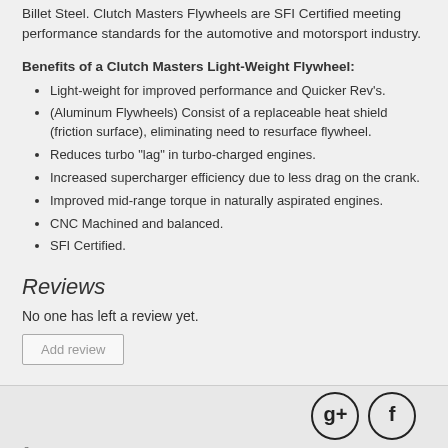Billet Steel. Clutch Masters Flywheels are SFI Certified meeting performance standards for the automotive and motorsport industry.
Benefits of a Clutch Masters Light-Weight Flywheel:
Light-weight for improved performance and Quicker Rev's.
(Aluminum Flywheels) Consist of a replaceable heat shield (friction surface), eliminating need to resurface flywheel.
Reduces turbo "lag" in turbo-charged engines.
Increased supercharger efficiency due to less drag on the crank.
Improved mid-range torque in naturally aspirated engines.
CNC Machined and balanced.
SFI Certified.
Reviews
No one has left a review yet.
Add review
© 2012-2019 Tuned Crew, LLC. All Rights Reserved. Use of this site signifies your acceptance of Import Tuned Website Terms and